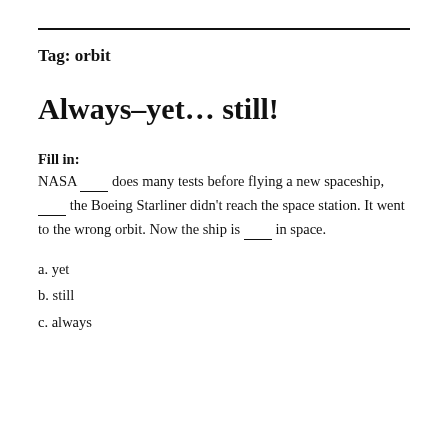Tag: orbit
Always–yet… still!
Fill in:
NASA ___ does many tests before flying a new spaceship, ___ the Boeing Starliner didn't reach the space station. It went to the wrong orbit. Now the ship is ___ in space.
a. yet
b. still
c. always